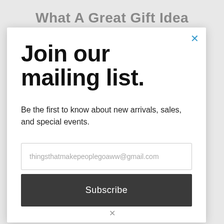What A Great Gift Idea
Join our mailing list.
Be the first to know about new arrivals, sales, and special events.
thingsthatmakepeoplegoaww@gmail.com
Subscribe